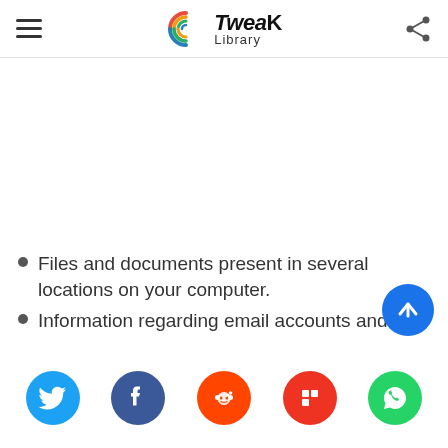Tweak Library
Files and documents present in several locations on your computer.
Information regarding email accounts and